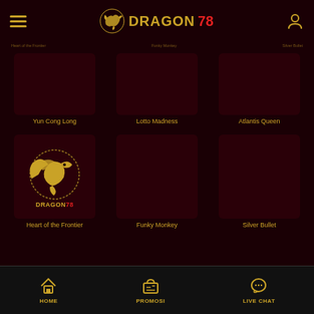DRAGON78 navigation bar with hamburger menu, logo, and user icon
Yun Cong Long
Lotto Madness
Atlantis Queen
[Figure (logo): Dragon78 logo with golden dragon graphic and DRAGON78 text]
Heart of the Frontier
Funky Monkey
Silver Bullet
HOME  PROMOSI  LIVE CHAT